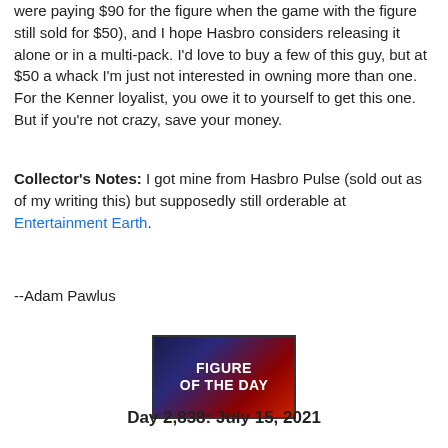were paying $90 for the figure when the game with the figure still sold for $50), and I hope Hasbro considers releasing it alone or in a multi-pack. I'd love to buy a few of this guy, but at $50 a whack I'm just not interested in owning more than one. For the Kenner loyalist, you owe it to yourself to get this one. But if you're not crazy, save your money.
Collector's Notes: I got mine from Hasbro Pulse (sold out as of my writing this) but supposedly still orderable at Entertainment Earth.
--Adam Pawlus
[Figure (illustration): Figure of the Day badge/logo — dark blue and red gradient background with white bold text reading FIGURE OF THE DAY]
Day 2,838: July 15, 2021